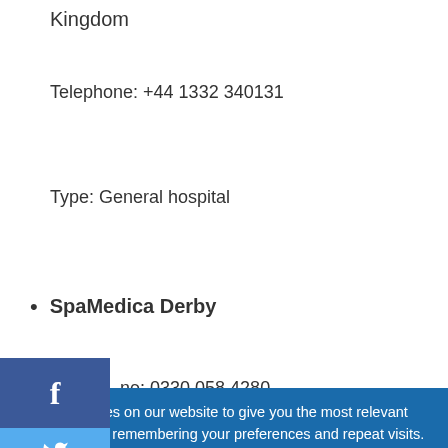Kingdom
Telephone: +44 1332 340131
Type: General hospital
SpaMedica Derby
ne: 0330 058 4280
Somerville House Stone Road Derby DE21 4YF
We use cookies on our website to give you the most relevant experience by remembering your preferences and repeat visits. By clicking "Accept", you consent to the use of ALL the